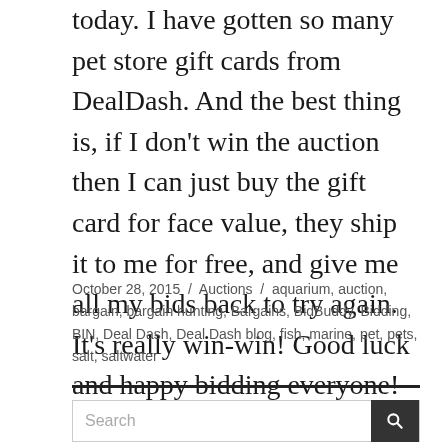today. I have gotten so many pet store gift cards from DealDash. And the best thing is, if I don't win the auction then I can just buy the gift card for face value, they ship it to me for free, and give me all my bids back to try again. It's really win-win! Good luck and happy bidding everyone!
October 28, 2015 / Auctions / aquarium, auction, bargain, bargain hunting, Bargains, BidBuddy, Bidding, BIN, Deal Dash, Deal Dash blog, fish, marine, pet, pets, salt, saltwater